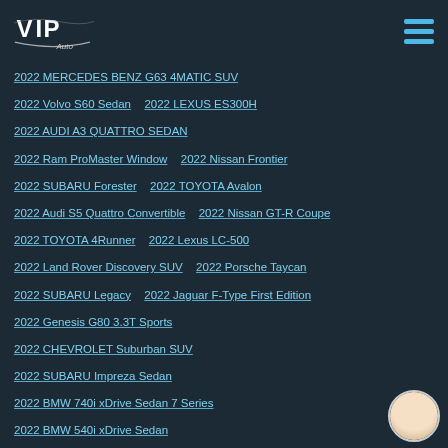VIP Auto
2022 MERCEDES BENZ G63 4MATIC SUV
2022 Volvo S60 Sedan   2022 LEXUS ES300H
2022 AUDI A3 QUATTRO SEDAN
2022 Ram ProMaster Window   2022 Nissan Frontier
2022 SUBARU Forester   2022 TOYOTA Avalon
2022 Audi S5 Quattro Convertible   2022 Nissan GT-R Coupe
2022 TOYOTA 4Runner   2022 Lexus LC-500
2022 Land Rover Discovery SUV   2022 Porsche Taycan
2022 SUBARU Legacy   2022 Jaguar F-Type First Edition
2022 Genesis G80 3.3T Sports
2022 CHEVROLET Suburban SUV
2022 SUBARU Impreza Sedan
2022 BMW 740i xDrive Sedan 7 Series
2022 BMW 540i xDrive Sedan
2022 INFINITI Q50 AWD SEDAN
2022 Audi S5 Sportback Sedan
2022 Genesis G70 3.3T Sedan   2022 Ram Pickup 1500